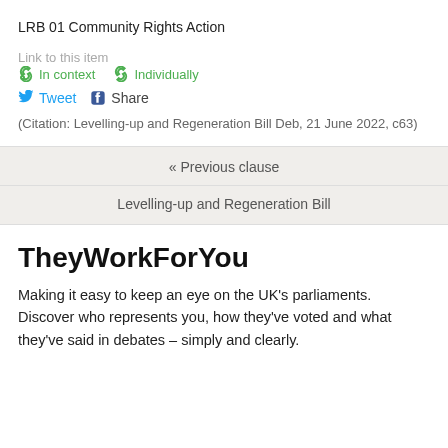LRB 01 Community Rights Action
Link to this item
In context   Individually
Tweet   Share
(Citation: Levelling-up and Regeneration Bill Deb, 21 June 2022, c63)
« Previous clause
Levelling-up and Regeneration Bill
TheyWorkForYou
Making it easy to keep an eye on the UK’s parliaments. Discover who represents you, how they’ve voted and what they’ve said in debates – simply and clearly.